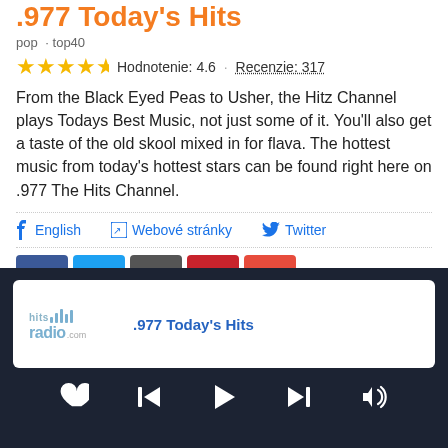.977 Today's Hits
pop · top40
Hodnotenie: 4.6 · Recenzie: 317
From the Black Eyed Peas to Usher, the Hitz Channel plays Todays Best Music, not just some of it. You'll also get a taste of the old skool mixed in for flava. The hottest music from today's hottest stars can be found right here on .977 The Hits Channel.
English · Webové stránky · Twitter
[Figure (infographic): Social share buttons: Facebook, Twitter, Share, Pinterest, Plus]
Páči sa mi 5049 · Live 271
.977 Today's Hits — hitsradio player card
[Figure (infographic): Media player controls: heart, previous, play, next, volume]